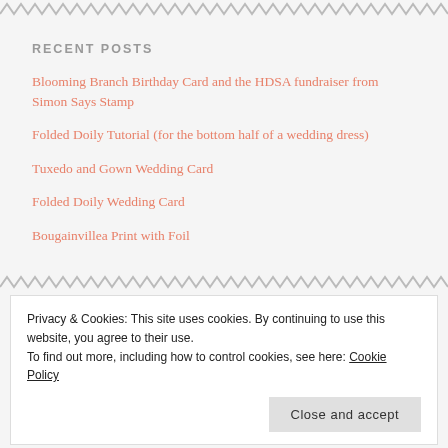RECENT POSTS
Blooming Branch Birthday Card and the HDSA fundraiser from Simon Says Stamp
Folded Doily Tutorial (for the bottom half of a wedding dress)
Tuxedo and Gown Wedding Card
Folded Doily Wedding Card
Bougainvillea Print with Foil
Privacy & Cookies: This site uses cookies. By continuing to use this website, you agree to their use.
To find out more, including how to control cookies, see here: Cookie Policy
Close and accept